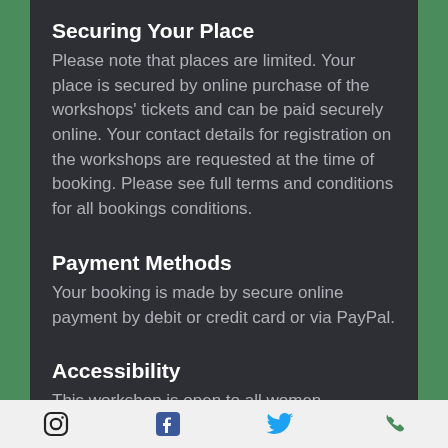Securing Your Place
Please note that places are limited. Your place is secured by online purchase of the workshops' tickets and can be paid securely online. Your contact details for registration on the workshops are requested at the time of booking. Please see full terms and conditions for all bookings conditions.
Payment Methods
Your booking is made by secure online payment by debit or credit card or via PayPal.
Accessibility
This workshop is open to all women
Instagram | Facebook | Twitter | Phone